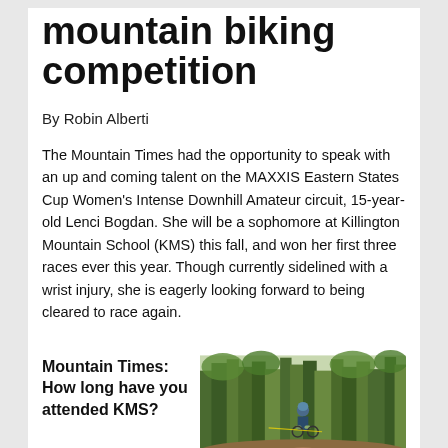mountain biking competition
By Robin Alberti
The Mountain Times had the opportunity to speak with an up and coming talent on the MAXXIS Eastern States Cup Women's Intense Downhill Amateur circuit, 15-year-old Lenci Bogdan. She will be a sophomore at Killington Mountain School (KMS) this fall, and won her first three races ever this year. Though currently sidelined with a wrist injury, she is eagerly looking forward to being cleared to race again.
Mountain Times: How long have you attended KMS?
[Figure (photo): A mountain biker riding downhill through a forest trail with trees in the background]